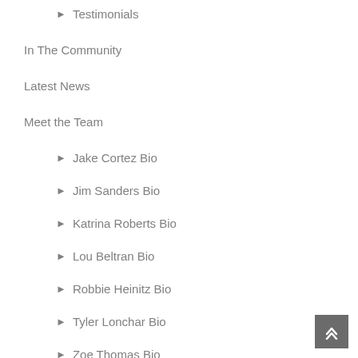Testimonials
In The Community
Latest News
Meet the Team
Jake Cortez Bio
Jim Sanders Bio
Katrina Roberts Bio
Lou Beltran Bio
Robbie Heinitz Bio
Tyler Lonchar Bio
Zoe Thomas Bio
Our Services